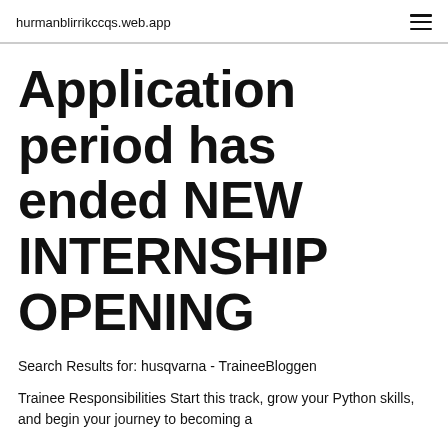hurmanblirrikccqs.web.app
Application period has ended NEW INTERNSHIP OPENING
Search Results for: husqvarna - TraineeBloggen
Trainee Responsibilities Start this track, grow your Python skills, and begin your journey to becoming a